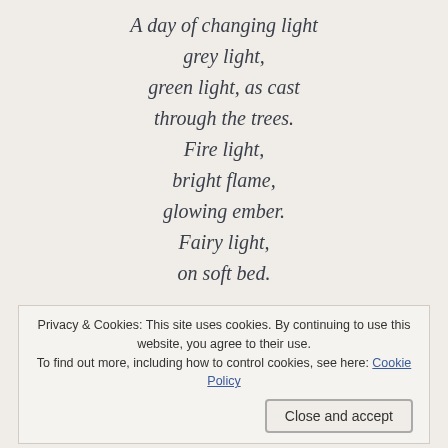A day of changing light
grey light,
green light, as cast
through the trees.
Fire light,
bright flame,
glowing ember.
Fairy light,
on soft bed.
Privacy & Cookies: This site uses cookies. By continuing to use this website, you agree to their use.
To find out more, including how to control cookies, see here: Cookie Policy
Close and accept